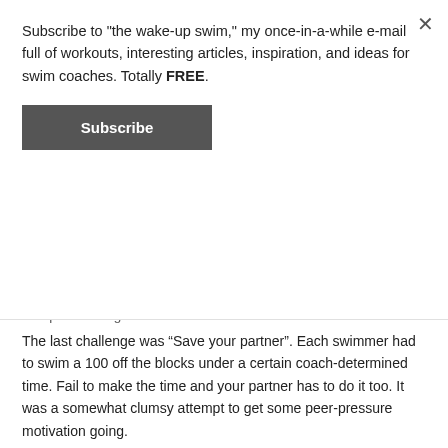Subscribe to "the wake-up swim," my once-in-a-while e-mail full of workouts, interesting articles, inspiration, and ideas for swim coaches. Totally FREE.
Subscribe
"unique challenge" in brackets.
The last challenge was “Save your partner”. Each swimmer had to swim a 100 off the blocks under a certain coach-determined time. Fail to make the time and your partner has to do it too. It was a somewhat clumsy attempt to get some peer-pressure motivation going.
The rest of the set worked well, with some of the unique challenges being a bit off-the-wall.